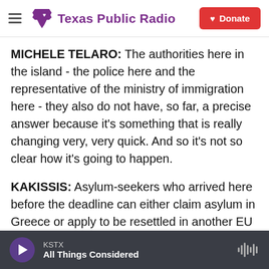Texas Public Radio
MICHELE TELARO: The authorities here in the island - the police here and the representative of the ministry of immigration here - they also do not have, so far, a precise answer because it's something that is really changing very, very quick. And so it's not so clear how it's going to happen.
KAKISSIS: Asylum-seekers who arrived here before the deadline can either claim asylum in Greece or apply to be resettled in another EU country. Sayer al-Kanati of Damascus says he's happy to go anywhere.
SAYER AL-KANI: [partially visible, cut off]
KSTX  All Things Considered